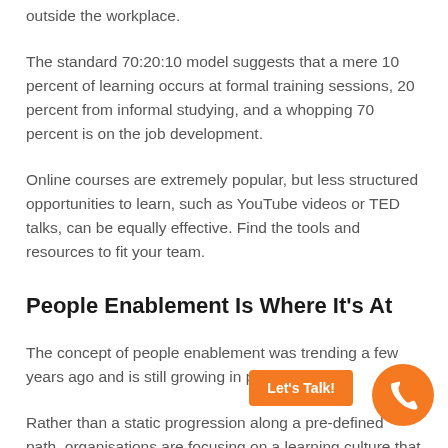outside the workplace.
The standard 70:20:10 model suggests that a mere 10 percent of learning occurs at formal training sessions, 20 percent from informal studying, and a whopping 70 percent is on the job development.
Online courses are extremely popular, but less structured opportunities to learn, such as YouTube videos or TED talks, can be equally effective. Find the tools and resources to fit your team.
People Enablement Is Where It’s At
The concept of people enablement was trending a few years ago and is still growing in popularity.
Rather than a static progression along a pre-defined path, organisations are focusing on a learning culture that allows